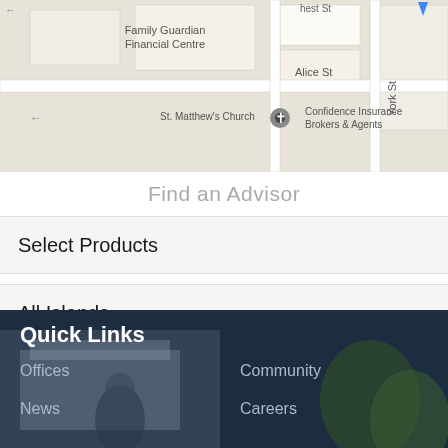[Figure (map): Google Maps screenshot showing Family Guardian Financial Centre, Confidence Insurance Brokers & Agents, St. Matthew's Church, Alice St, York St]
Find an Advisor
Select Products
All Islands
[Figure (other): Location/GPS circle icon button (grey)]
[Figure (other): Search button - dark red square with magnifying glass icon]
Quick Links
Offices
Community
News
Careers